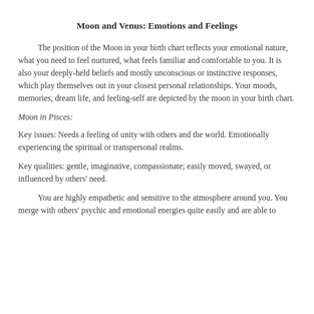Moon and Venus: Emotions and Feelings
The position of the Moon in your birth chart reflects your emotional nature, what you need to feel nurtured, what feels familiar and comfortable to you. It is also your deeply-held beliefs and mostly unconscious or instinctive responses, which play themselves out in your closest personal relationships. Your moods, memories, dream life, and feeling-self are depicted by the moon in your birth chart.
Moon in Pisces:
Key issues: Needs a feeling of unity with others and the world. Emotionally experiencing the spiritual or transpersonal realms.
Key qualities: gentle, imaginative, compassionate; easily moved, swayed, or influenced by others' need.
You are highly empathetic and sensitive to the atmosphere around you. You merge with others' psychic and emotional energies quite easily and are able to